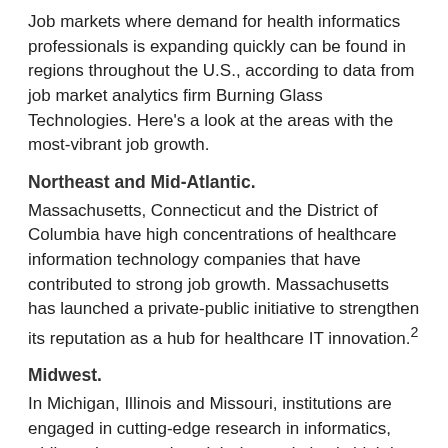Job markets where demand for health informatics professionals is expanding quickly can be found in regions throughout the U.S., according to data from job market analytics firm Burning Glass Technologies. Here's a look at the areas with the most-vibrant job growth.
Northeast and Mid-Atlantic.
Massachusetts, Connecticut and the District of Columbia have high concentrations of healthcare information technology companies that have contributed to strong job growth. Massachusetts has launched a private-public initiative to strengthen its reputation as a hub for healthcare IT innovation.²
Midwest.
In Michigan, Illinois and Missouri, institutions are engaged in cutting-edge research in informatics, while at the same time, job demand also is high in more-rural states, like South Dakota, which are innovating in areas such as telemedicine.